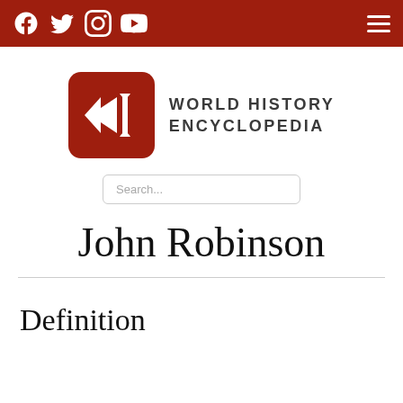World History Encyclopedia — navigation bar with social icons and menu
[Figure (logo): World History Encyclopedia logo: red rounded square with double arrow and vertical bar icon, beside bold text WORLD HISTORY ENCYCLOPEDIA]
Search...
John Robinson
Definition